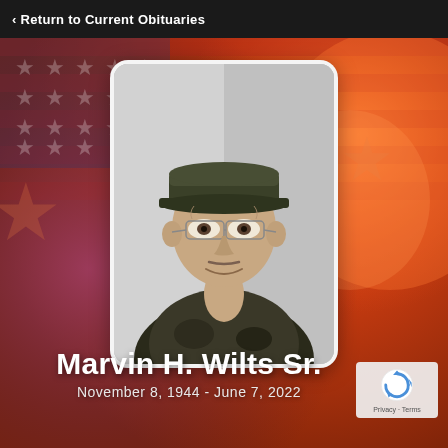Return to Current Obituaries
[Figure (photo): Portrait photo of Marvin H. Wilts Sr., an elderly man wearing a dark olive baseball cap and camouflage jacket, with wire-rimmed glasses, smiling slightly, against a light wall background. The photo is displayed in a rounded rectangle frame over a patriotic American flag background with warm orange and red tones.]
Marvin H. Wilts Sr.
November 8, 1944 - June 7, 2022